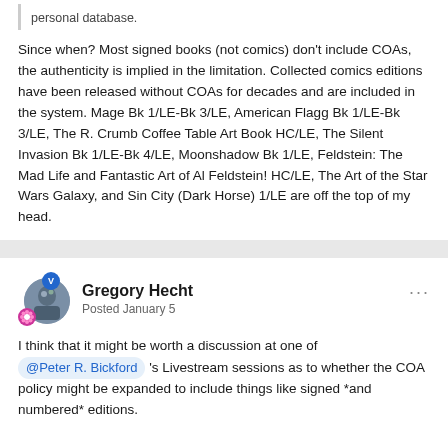personal database.
Since when?  Most signed books (not comics) don't include COAs, the authenticity is implied in the limitation.  Collected comics editions have been released without COAs for decades and are included in the system.  Mage Bk 1/LE-Bk 3/LE, American Flagg Bk 1/LE-Bk 3/LE, The R. Crumb Coffee Table Art Book HC/LE, The Silent Invasion Bk 1/LE-Bk 4/LE, Moonshadow Bk 1/LE, Feldstein: The Mad Life and Fantastic Art of Al Feldstein! HC/LE, The Art of the Star Wars Galaxy, and Sin City (Dark Horse) 1/LE are off the top of my head.
Gregory Hecht
Posted January 5
I think that it might be worth a discussion at one of @Peter R. Bickford 's Livestream sessions as to whether the COA policy might be expanded to include things like signed *and numbered* editions.